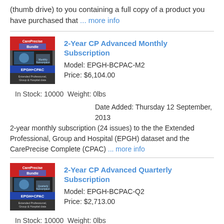(thumb drive) to you containing a full copy of a product you have purchased that ... more info
[Figure (illustration): CarePrecise Bundle EPGH+CPAC Monthly Subscription product image]
2-Year CP Advanced Monthly Subscription
Model: EPGH-BCPAC-M2
Price: $6,104.00
In Stock: 10000  Weight: 0lbs
Date Added: Thursday 12 September, 2013
2-year monthly subscription (24 issues) to the the Extended Professional, Group and Hospital (EPGH) dataset and the CarePrecise Complete (CPAC) ... more info
[Figure (illustration): CarePrecise Bundle EPGH+CPAC Quarterly Subscription product image]
2-Year CP Advanced Quarterly Subscription
Model: EPGH-BCPAC-Q2
Price: $2,713.00
In Stock: 10000  Weight: 0lbs